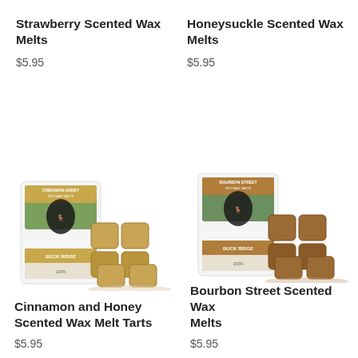Strawberry Scented Wax Melts
$5.95
Honeysuckle Scented Wax Melts
$5.95
[Figure (photo): Cinnamon and Honey Scented Wax Melt Tarts product photo showing Buck Ridge branded packaging with cinnamon honey wax tarts arranged in front]
Cinnamon and Honey Scented Wax Melt Tarts
$5.95
[Figure (photo): Bourbon Street Scented Wax Melts product photo showing Buck Ridge branded packaging with brown wax melts arranged in front]
Bourbon Street Scented Wax Melts
$5.95